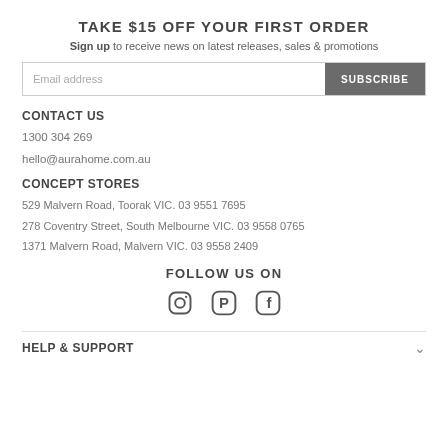TAKE $15 OFF YOUR FIRST ORDER
Sign up to receive news on latest releases, sales & promotions
Email address | SUBSCRIBE
CONTACT US
1300 304 269
hello@aurahome.com.au
CONCEPT STORES
529 Malvern Road, Toorak VIC. 03 9551 7695
278 Coventry Street, South Melbourne VIC. 03 9558 0765
1371 Malvern Road, Malvern VIC. 03 9558 2409
FOLLOW US ON
[Figure (infographic): Instagram, Pinterest, and Facebook social media icons]
HELP & SUPPORT